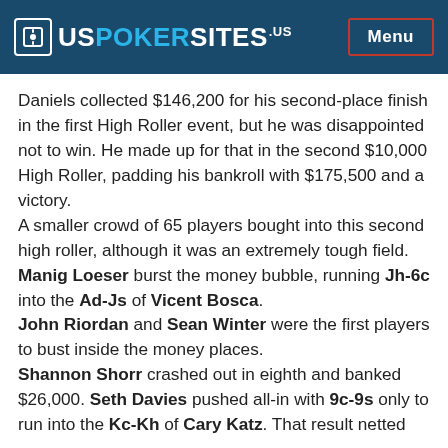USPOKERSITES.US — Menu
Daniels collected $146,200 for his second-place finish in the first High Roller event, but he was disappointed not to win. He made up for that in the second $10,000 High Roller, padding his bankroll with $175,500 and a victory.
A smaller crowd of 65 players bought into this second high roller, although it was an extremely tough field. Manig Loeser burst the money bubble, running Jh-6c into the Ad-Js of Vicent Bosca.
John Riordan and Sean Winter were the first players to bust inside the money places.
Shannon Shorr crashed out in eighth and banked $26,000. Seth Davies pushed all-in with 9c-9s only to run into the Kc-Kh of Cary Katz. That result netted